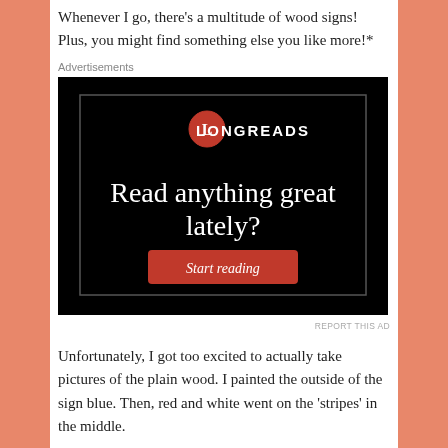Whenever I go, there's a multitude of wood signs! Plus, you might find something else you like more!*
Advertisements
[Figure (screenshot): Longreads advertisement banner. Black background with red circular logo bearing 'L', text 'LONGREADS', large serif text 'Read anything great lately?', and a red button labeled 'Start reading'.]
REPORT THIS AD
Unfortunately, I got too excited to actually take pictures of the plain wood. I painted the outside of the sign blue. Then, red and white went on the ‘stripes’ in the middle.
I just used craft paint and it worked fine!